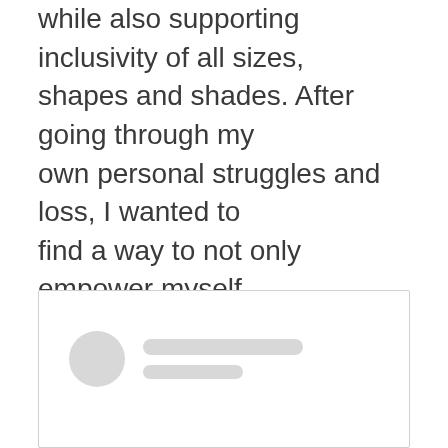while also supporting inclusivity of all sizes, shapes and shades. After going through my own personal struggles and loss, I wanted to find a way to not only empower myself through fashion, but to also empower others to be the healthiest versions of themselves mentally, physically and emotionally. Fashion is an important part of how people define themselves and others—and I want to find a way to spread confidence, health and empowerment with my brand.
[Figure (screenshot): A social media post screenshot placeholder showing a blurred/greyed out profile avatar circle and two placeholder bars representing a username and handle, with the post content area empty below.]